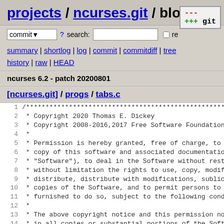projects / ncurses.git / blob
commit ? search: re
summary | shortlog | log | commit | commitdiff | tree history | raw | HEAD
ncurses 6.2 - patch 20200801
[ncurses.git] / progs / tabs.c
1  /***********************************************************...
2   * Copyright 2020 Thomas E. Dickey
3   * Copyright 2008-2016,2017 Free Software Foundation, I...
4   *
5   * Permission is hereby granted, free of charge, to any...
6   * copy of this software and associated documentation f...
7   * "Software"), to deal in the Software without restric...
8   * without limitation the rights to use, copy, modify,...
9   * distribute, distribute with modifications, sublicens...
10  * copies of the Software, and to permit persons to who...
11  * furnished to do so, subject to the following conditi...
12  *
13  * The above copyright notice and this permission notic...
14  * in all copies or substantial portions of the Softwar...
15  *
16  * THE SOFTWARE IS PROVIDED "AS IS", WITHOUT WARRANTY O...
17  * OR IMPLIED, INCLUDING BUT NOT LIMITED TO THE WARRANT...
18  * MERCHANTABILITY, FITNESS FOR A PARTICULAR PURPOSE AN...
19  * IN NO EVENT SHALL THE ABOVE COPYRIGHT HOLDERS BE LIA...